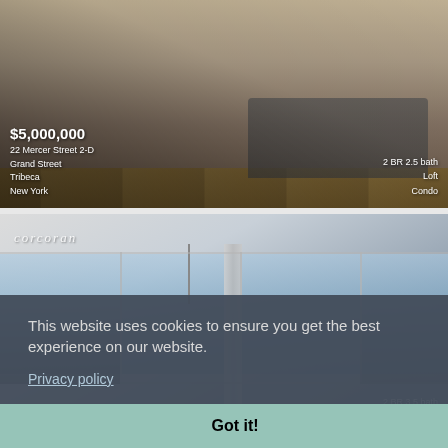[Figure (photo): Interior photo of a loft condo at 22 Mercer Street 2-D, Tribeca, New York. Price listed as $5,000,000. Shows living area with sofa and wood floors. 2 BR 2.5 bath, Loft, Condo.]
[Figure (photo): Interior photo of a High-Rise condo in New York with large floor-to-ceiling windows showing city and water views. Corcoran logo visible. 2 BR 3.5 bath, High-Rise, Condo. Cookie consent banner overlaid.]
This website uses cookies to ensure you get the best experience on our website. Privacy policy
Got it!